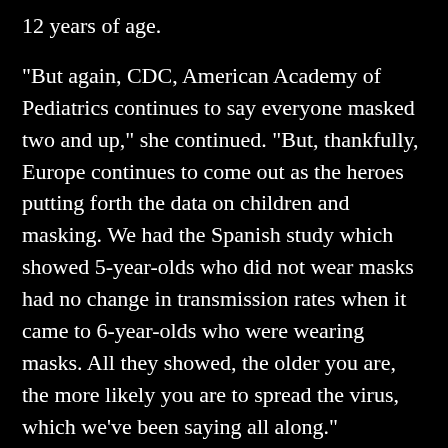12 years of age.
"But again, CDC, American Academy of Pediatrics continues to say everyone masked two and up," she continued. "But, thankfully, Europe continues to come out as the heroes putting forth the data on children and masking. We had the Spanish study which showed 5-year-olds who did not wear masks had no change in transmission rates when it came to 6-year-olds who were wearing masks. All they showed, the older you are, the more likely you are to spread the virus, which we've been saying all along."
The Spanish study that Dr. Saphier references above is quite clear: There is no discernible difference between mask-mandate and mask-optional schools when it comes to Covid transmission. The study's overview was summarized in a Tablet article "The Cult of Masked